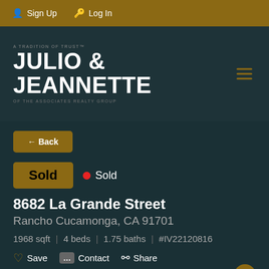Sign Up  Log In
[Figure (logo): Julio & Jeannette of the Associates Realty Group logo on dark teal background with hamburger menu icon]
← Back
Sold • Sold
8682 La Grande Street
Rancho Cucamonga, CA 91701
1968 sqft | 4 beds | 1.75 baths | #IV22120816
Save  Contact  Share
Price Change Alerts